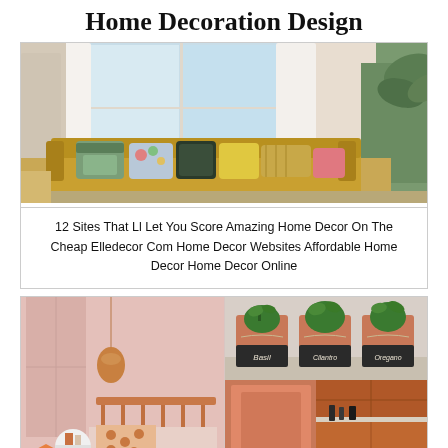Home Decoration Design
[Figure (photo): Living room with mustard sofa, colorful pillows, large windows with white curtains, and tropical plants]
12 Sites That Ll Let You Score Amazing Home Decor On The Cheap Elledecor Com Home Decor Websites Affordable Home Decor Home Decor Online
[Figure (photo): Collage of home decoration images: pink bedroom with copper pendant light and metal bed frame; copper/rose gold tin cans labeled Basil, Cilantro, Oregano with plants; terracotta/salmon colored kitchen cabinet area]